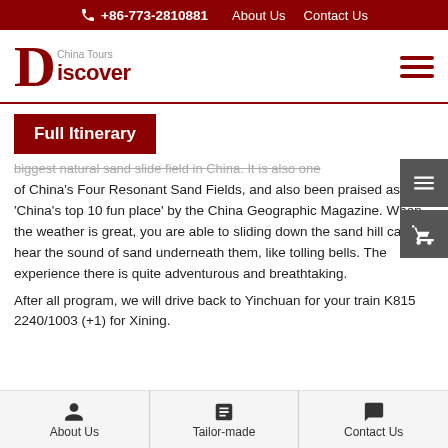+86-773-2810881  About Us  Contact Us
[Figure (logo): Discover China Tours logo with large red D and text]
Full Itinerary
biggest natural sand slide field in China. It is also one of China's Four Resonant Sand Fields, and also been praised as 'China's top 10 fun place' by the China Geographic Magazine. When the weather is great, you are able to sliding down the sand hill can hear the sound of sand underneath them, like tolling bells. The experience there is quite adventurous and breathtaking.
After all program, we will drive back to Yinchuan for your train K815 2240/1003 (+1) for Xining.
About Us   Tailor-made   Contact Us